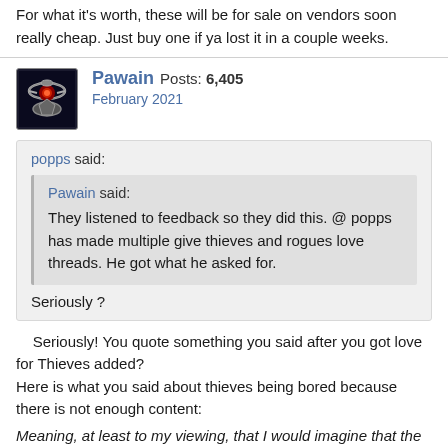For what it's worth, these will be for sale on vendors soon really cheap. Just buy one if ya lost it in a couple weeks.
Pawain  Posts: 6,405
February 2021
popps said:
Pawain said:
They listened to feedback so they did this. @ popps has made multiple give thieves and rogues love threads. He got what he asked for.
Seriously ?
Seriously! You quote something you said after you got love for Thieves added?
Here is what you said about thieves being bored because there is not enough content:
Meaning, at least to my viewing, that I would imagine that the average Thief would then need to be attached/assigned/addition to find t...